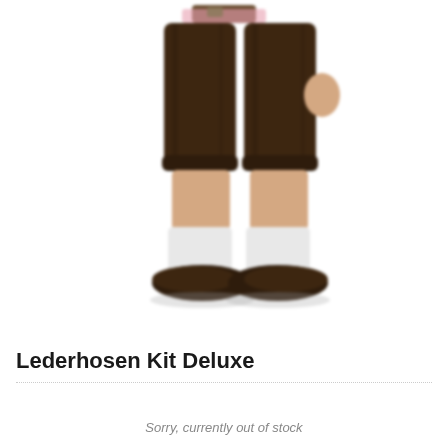[Figure (photo): Photo of a person from the waist down wearing dark brown lederhosen (traditional Bavarian knee-length leather pants) with suspenders visible at the top, white socks, and dark brown shoes. The image is slightly blurred/soft focus on a white background.]
Lederhosen Kit Deluxe
Sorry, currently out of stock